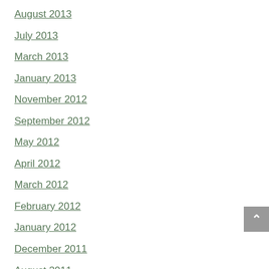August 2013
July 2013
March 2013
January 2013
November 2012
September 2012
May 2012
April 2012
March 2012
February 2012
January 2012
December 2011
August 2011